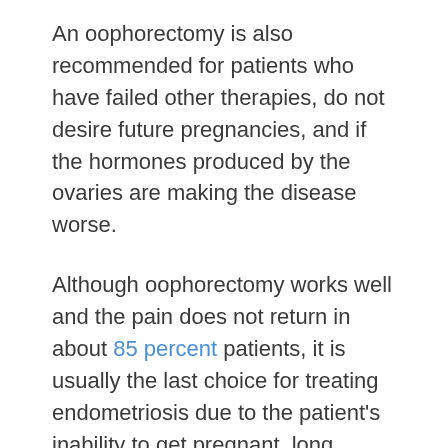An oophorectomy is also recommended for patients who have failed other therapies, do not desire future pregnancies, and if the hormones produced by the ovaries are making the disease worse.
Although oophorectomy works well and the pain does not return in about 85 percent patients, it is usually the last choice for treating endometriosis due to the patient's inability to get pregnant, long recovery times, and the premature menopause it causes.